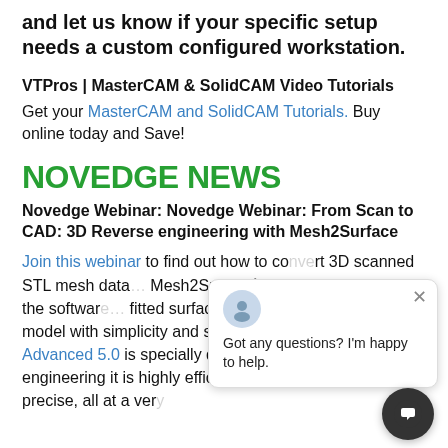and let us know if your specific setup needs a custom configured workstation.
VTPros | MasterCAM & SolidCAM Video Tutorials
Get your MasterCAM and SolidCAM Tutorials. Buy online today and Save!
NOVEDGE NEWS
Novedge Webinar: Novedge Webinar: From Scan to CAD: 3D Reverse engineering with Mesh2Surface
Join this webinar to find out how to convert 3D scanned STL mesh data... Mesh2Surface's Product... the tools of the software... fitted surfaces and build a complete CAD model with simplicity and speed. Mesh2Surface Advanced 5.0 is specially designed for 3D reverse engineering it is highly efficient, user friendly and precise, all at a very affordable price. No matter how complex the...